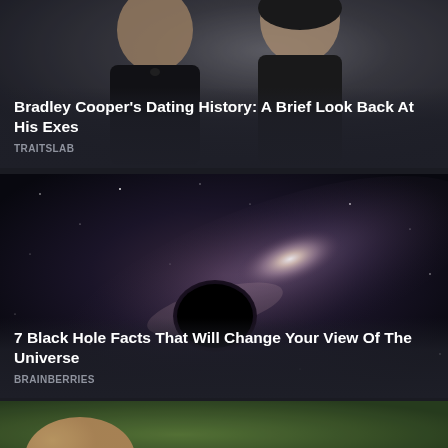[Figure (photo): Two people in formal black attire at an event, man wearing bow tie, woman with dark hair]
Bradley Cooper's Dating History: A Brief Look Back At His Exes
TRAITSLAB
[Figure (photo): Artistic rendering of a black hole in space with a galaxy and bright light surrounding it]
7 Black Hole Facts That Will Change Your View Of The Universe
BRAINBERRIES
[Figure (photo): Partial view of a person's face partially obscured, green background visible]